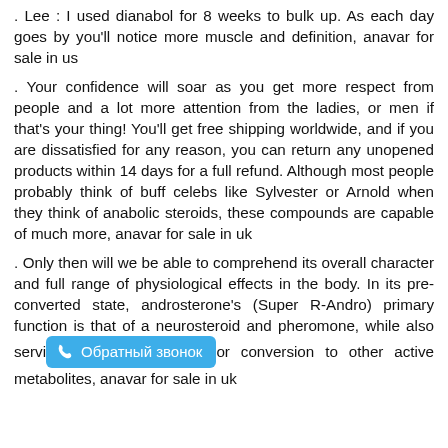. Lee : I used dianabol for 8 weeks to bulk up. As each day goes by you'll notice more muscle and definition, anavar for sale in us
. Your confidence will soar as you get more respect from people and a lot more attention from the ladies, or men if that's your thing! You'll get free shipping worldwide, and if you are dissatisfied for any reason, you can return any unopened products within 14 days for a full refund. Although most people probably think of buff celebs like Sylvester or Arnold when they think of anabolic steroids, these compounds are capable of much more, anavar for sale in uk
. Only then will we be able to comprehend its overall character and full range of physiological effects in the body. In its pre-converted state, androsterone's (Super R-Andro) primary function is that of a neurosteroid and pheromone, while also serving as or conversion to other active metabolites, anavar for sale in uk